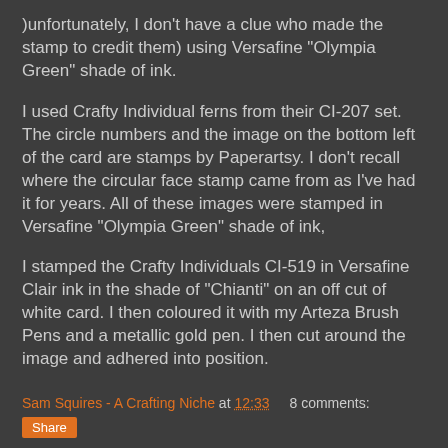)unfortunately, I don't have a clue who made the stamp to credit them) using Versafine "Olympia Green" shade of ink.
I used Crafty Individual ferns from their CI-207 set.  The circle numbers and the image on the bottom left of the card are stamps by Paperartsy.  I don't recall where the circular face stamp came from as I've had it for years.  All of these images were stamped in Versafine "Olympia Green" shade of ink,
I stamped the Crafty Individuals CI-519 in Versafine Clair ink in the shade of "Chianti" on an off cut of white card.  I then coloured it with my Arteza Brush Pens and a metallic gold pen.  I then cut around the image and adhered into position.
Sam Squires - A Crafting Niche at 12:33  8 comments: